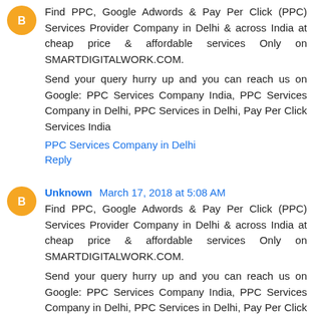Find PPC, Google Adwords & Pay Per Click (PPC) Services Provider Company in Delhi & across India at cheap price & affordable services Only on SMARTDIGITALWORK.COM.
Send your query hurry up and you can reach us on Google: PPC Services Company India, PPC Services Company in Delhi, PPC Services in Delhi, Pay Per Click Services India
PPC Services Company in Delhi
Reply
Unknown March 17, 2018 at 5:08 AM
Find PPC, Google Adwords & Pay Per Click (PPC) Services Provider Company in Delhi & across India at cheap price & affordable services Only on SMARTDIGITALWORK.COM.
Send your query hurry up and you can reach us on Google: PPC Services Company India, PPC Services Company in Delhi, PPC Services in Delhi, Pay Per Click Services India